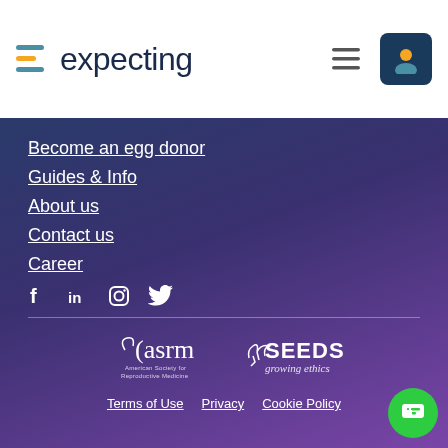[Figure (logo): Expecting logo with multi-line icon in blue/yellow and text 'expecting' in dark navy]
Become an egg donor
Guides & Info
About us
Contact us
Career
[Figure (infographic): Social media icons: Facebook, LinkedIn, Instagram, Twitter in white]
[Figure (logo): ASRM (American Society for Reproductive Medicine) logo in white]
[Figure (logo): SEEDS growing ethics logo in white]
Terms of Use   Privacy   Cookie Policy